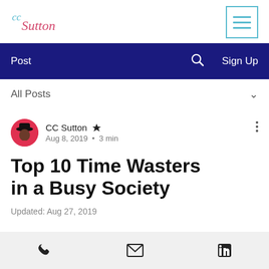[Figure (logo): CC Sutton cursive script logo in pink/teal]
[Figure (other): Hamburger menu icon with teal border and three teal horizontal bars]
Post   Sign Up
All Posts
[Figure (photo): Author avatar photo of CC Sutton, a woman in a red outfit with a black hat]
CC Sutton 👑
Aug 8, 2019 • 3 min
Top 10 Time Wasters in a Busy Society
Updated: Aug 27, 2019
Phone  Email  LinkedIn